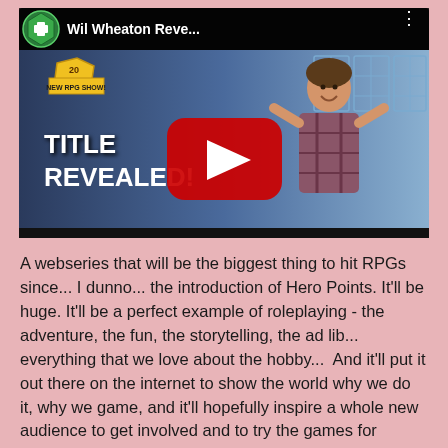[Figure (screenshot): YouTube video thumbnail/player showing 'Wil Wheaton Reve...' with a person gesturing in front of a blue background, text overlays 'NEW RPG SHOW!', 'TITLE REVEALED!', a large red play button, and a green D20 dice icon with a cross.]
A webseries that will be the biggest thing to hit RPGs since... I dunno... the introduction of Hero Points. It'll be huge. It'll be a perfect example of roleplaying - the adventure, the fun, the storytelling, the ad lib... everything that we love about the hobby...  And it'll put it out there on the internet to show the world why we do it, why we game, and it'll hopefully inspire a whole new audience to get involved and to try the games for themselves.